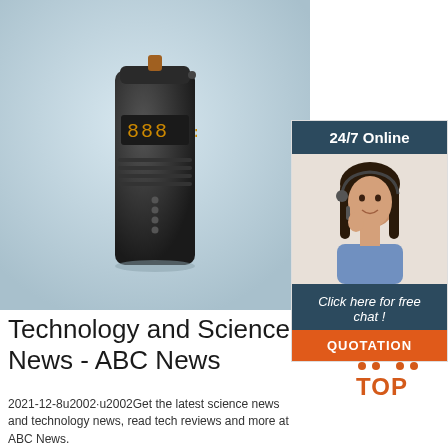[Figure (photo): Black portable power bank / air pump device standing upright on light blue-gray background, with LED display showing '888' and ribbed texture on body]
[Figure (infographic): 24/7 Online chat advertisement panel with dark teal header, photo of smiling woman with headset, text 'Click here for free chat!' and orange QUOTATION button]
Technology and Science News - ABC News
[Figure (logo): TOP logo with orange triangle made of dots above orange text 'TOP']
2021-12-8u2002·u2002Get the latest science news and technology news, read tech reviews and more at ABC News.